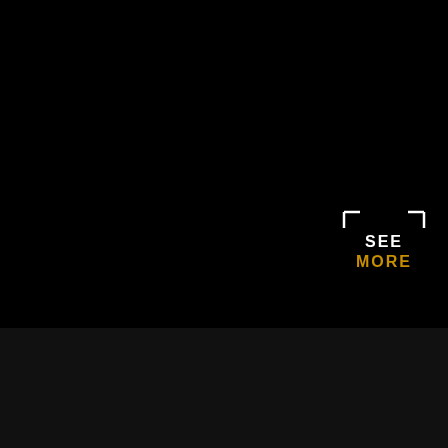[Figure (other): Black video/media player area with SEE MORE overlay button in top-right corner. SEE MORE text is in a bracket frame, with SEE in white and MORE in gold/yellow.]
Advertisement
COMMENTS
Username
[Figure (logo): Graffiti-style logo reading 3GvFiT on a light textured background with dark brush strokes]